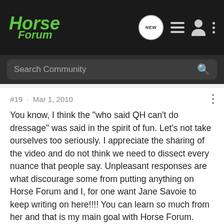Horse Forum
Search Community
#19 · Mar 1, 2010
You know, I think the "who said QH can't do dressage" was said in the spirit of fun. Let's not take ourselves too seriously. I appreciate the sharing of the video and do not think we need to dissect every nuance that people say. Unpleasant responses are what discourage some from putting anything on Horse Forum and I, for one want Jane Savoie to keep writing on here!!!! You can learn so much from her and that is my main goal with Horse Forum.
[Figure (screenshot): GroundOS advertisement banner: The nation's top land brokers run on GroundOS. REQUEST A DEMO]